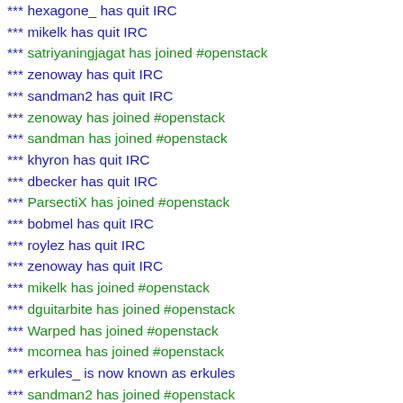*** hexagone_ has quit IRC
*** mikelk has quit IRC
*** satriyaningjagat has joined #openstack
*** zenoway has quit IRC
*** sandman2 has quit IRC
*** zenoway has joined #openstack
*** sandman has joined #openstack
*** khyron has quit IRC
*** dbecker has quit IRC
*** ParsectiX has joined #openstack
*** bobmel has quit IRC
*** roylez has quit IRC
*** zenoway has quit IRC
*** mikelk has joined #openstack
*** dguitarbite has joined #openstack
*** Warped has joined #openstack
*** mcornea has joined #openstack
*** erkules_ is now known as erkules
*** sandman2 has joined #openstack
*** sandman has quit IRC
*** thorst has joined #openstack
*** skoude__ has joined #openstack
*** e0ne has joined #openstack